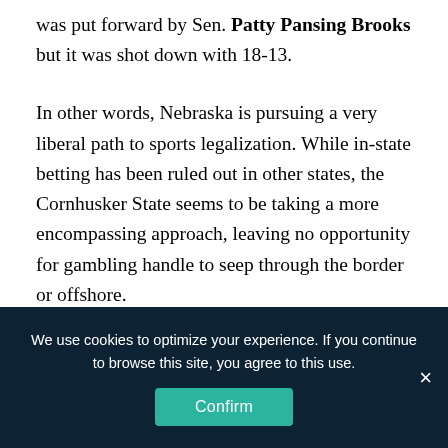was put forward by Sen. Patty Pansing Brooks but it was shot down with 18-13.
In other words, Nebraska is pursuing a very liberal path to sports legalization. While in-state betting has been ruled out in other states, the Cornhusker State seems to be taking a more encompassing approach, leaving no opportunity for gambling handle to seep through the border or offshore.
We use cookies to optimize your experience. If you continue to browse this site, you agree to this use.